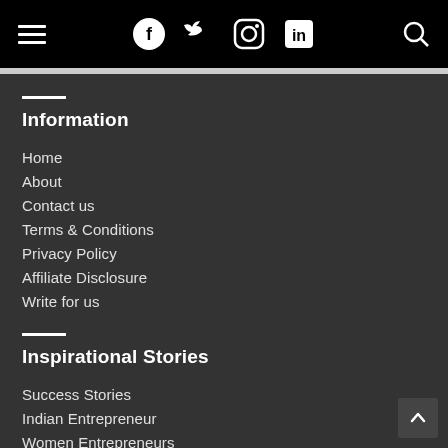Navigation bar with hamburger menu, Facebook, Twitter, Instagram, LinkedIn icons, and search icon
Information
Home
About
Contact us
Terms & Conditions
Privacy Policy
Affiliate Disclosure
Write for us
Inspirational Stories
Success Stories
Indian Entrepreneur
Women Entrepreneurs